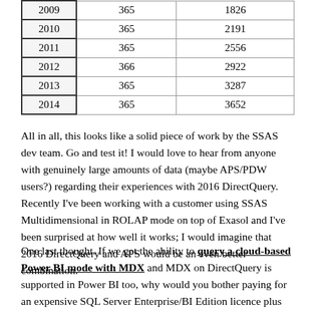| Year | Days | Cumulative |
| --- | --- | --- |
| 2009 | 365 | 1826 |
| 2010 | 365 | 2191 |
| 2011 | 365 | 2556 |
| 2012 | 366 | 2922 |
| 2013 | 365 | 3287 |
| 2014 | 365 | 3652 |
All in all, this looks like a solid piece of work by the SSAS dev team. Go and test it! I would love to hear from anyone with genuinely large amounts of data (maybe APS/PDW users?) regarding their experiences with 2016 DirectQuery. Recently I've been working with a customer using SSAS Multidimensional in ROLAP mode on top of Exasol and I've been surprised at how well it works; I would imagine that 2016 DirectQuery and APS would be an even better combination.
One last thought. If we get the ability to query a cloud-based Power BI mode with MDX and MDX on DirectQuery is supported in Power BI too, why would you bother paying for an expensive SQL Server Enterprise/BI Edition licence plus hardware to use DirectQuery when you can get almost the same functionality in the cloud for a fraction of